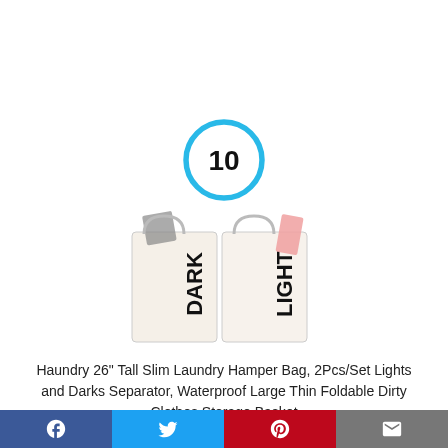[Figure (other): Number 10 inside a blue circle badge]
[Figure (photo): Two white laundry hamper bags labeled DARK and LIGHT with clothes hanging out]
Haundry 26" Tall Slim Laundry Hamper Bag, 2Pcs/Set Lights and Darks Separator, Waterproof Large Thin Foldable Dirty Clothes Storage Basket
Social sharing bar with Facebook, Twitter, Pinterest, and Email icons